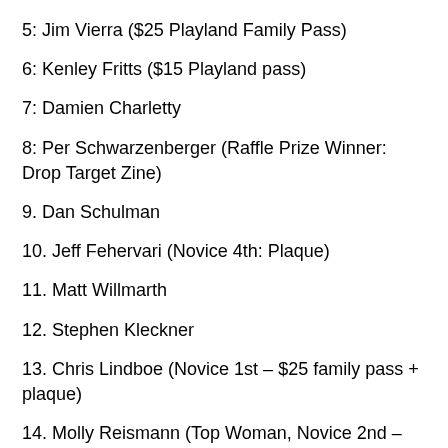5: Jim Vierra ($25 Playland Family Pass)
6: Kenley Fritts ($15 Playland pass)
7: Damien Charletty
8: Per Schwarzenberger (Raffle Prize Winner: Drop Target Zine)
9. Dan Schulman
10. Jeff Fehervari (Novice 4th: Plaque)
11. Matt Willmarth
12. Stephen Kleckner
13. Chris Lindboe (Novice 1st – $25 family pass + plaque)
14. Molly Reismann (Top Woman, Novice 2nd – $15 pass